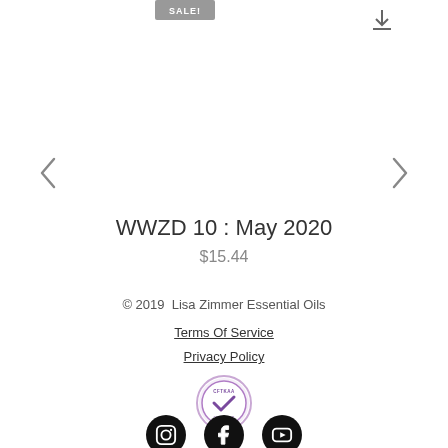[Figure (other): SALE badge label at top center]
[Figure (other): Download icon at top right]
[Figure (other): Left navigation arrow chevron]
[Figure (other): Right navigation arrow chevron]
WWZD 10 : May 2020
$15.44
© 2019  Lisa Zimmer Essential Oils
Terms Of Service
Privacy Policy
[Figure (logo): CFTKAA Certified badge - circular purple badge with checkmark]
[Figure (other): Social media icons: Instagram, Facebook, YouTube]